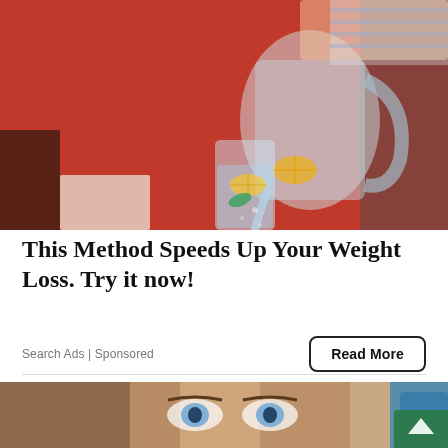[Figure (photo): Woman in red sweater pouring water with lemon slices from a pitcher into a glass. Health/weight loss themed image.]
This Method Speeds Up Your Weight Loss. Try it now!
Search Ads | Sponsored
Read More
[Figure (photo): Close-up of a woman with blue eyes looking upward, with a gloved hand visible at the right side of the frame.]